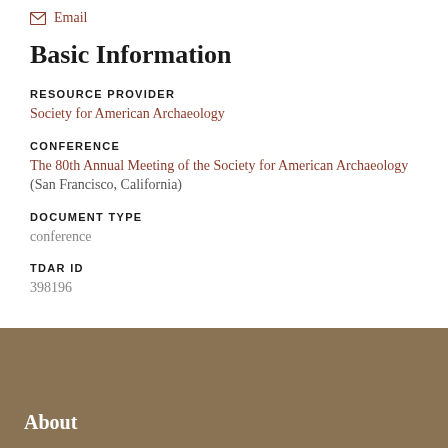Email
Basic Information
RESOURCE PROVIDER
Society for American Archaeology
CONFERENCE
The 80th Annual Meeting of the Society for American Archaeology (San Francisco, California)
DOCUMENT TYPE
conference
TDAR ID
398196
About